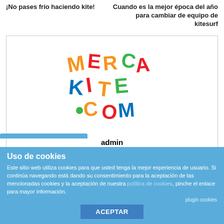¡No pases frío haciendo kite!
Cuando es la mejor época del año para cambiar de equipo de kitesurf
[Figure (logo): Mercakite.com logo with colorful letters spelling out MERCAKITE.COM]
admin
Uso de cookies
Este sitio web utiliza cookies para que usted tenga la mejor experiencia de usuario. Si continúa navegando está dando su consentimiento para la aceptación de las mencionadas cookies y la aceptación de nuestra política de cookies, pinche el enlace para mayor información.
plugin cookies
ACEPTAR